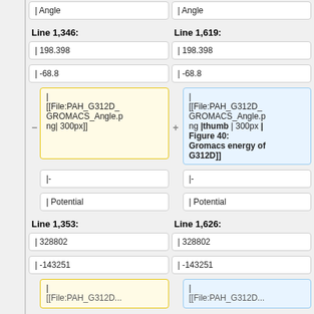| Angle
| Angle
Line 1,346:
Line 1,619:
| 198.398
| 198.398
| -68.8
| -68.8
|
[[File:PAH_G312D_GROMACS_Angle.png| 300px]]
|
[[File:PAH_G312D_GROMACS_Angle.png |thumb | 300px | Figure 40: Gromacs energy of G312D]]
|-
|-
| Potential
| Potential
Line 1,353:
Line 1,626:
| 328802
| 328802
| -143251
| -143251
|
[[File:PAH_G312D...
|
[[File:PAH_G312D...